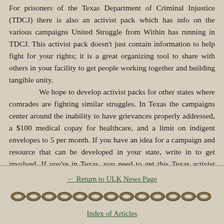For prisoners of the Texas Department of Criminal Injustice (TDCJ) there is also an activist pack which has info on the various campaigns United Struggle from Within has running in TDCJ. This activist pack doesn't just contain information to help fight for your rights; it is a great organizing tool to share with others in your facility to get people working together and building tangible unity.
We hope to develop activist packs for other states where comrades are fighting similar struggles. In Texas the campaigns center around the inability to have grievances properly addressed, a $100 medical copay for healthcare, and a limit on indigent envelopes to 5 per month. If you have an idea for a campaign and resource that can be developed in your state, write in to get involved. If you're in Texas, you need to get this Texas activist pack! It's costly to print and mail so if you are able to send us a donation, that would be greatly appreciated.
← Return to ULK News Page
[Figure (illustration): A decorative chain link divider illustration spanning the width of the page]
Index of Articles